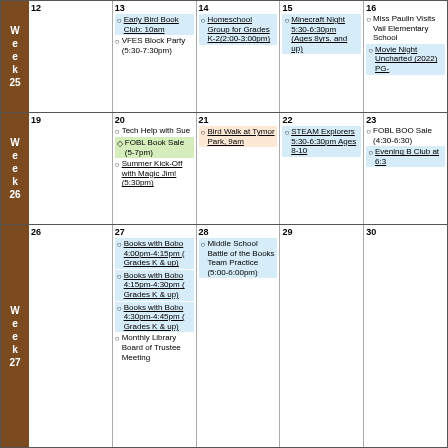| Week | Mon | Tue | Wed | Thu | Fri |
| --- | --- | --- | --- | --- | --- |
| Week 25 | 12 | 13 | 14 | 15 | 16 |
| Week 26 | 19 | 20 | 21 | 22 | 23 |
| Week 27 | 26 | 27 | 28 | 29 | 30 |